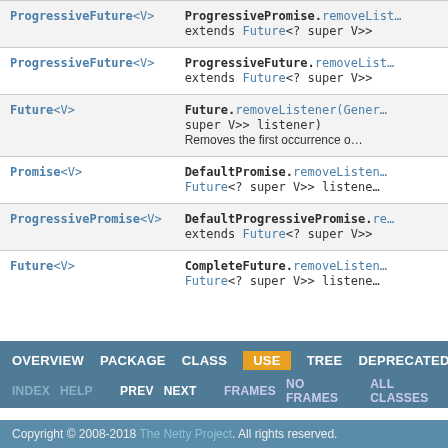| Type | Method/Description |
| --- | --- |
| ProgressiveFuture<V> | ProgressiveFuture.removeListener(...) extends Future<? super V>> |
| ProgressiveFuture<V> | ProgressiveFuture.removeListener(...) extends Future<? super V>> |
| Future<V> | Future.removeListener(Gener... super V>> listener)
Removes the first occurrence of... |
| Promise<V> | DefaultPromise.removeListener... Future<? super V>> listene... |
| ProgressivePromise<V> | DefaultProgressivePromise.re... extends Future<? super V>> |
| Future<V> | CompleteFuture.removeListener... Future<? super V>> listene... |
OVERVIEW  PACKAGE  CLASS  USE  TREE  DEPRECATED
INDEX  HELP
PREV  NEXT  FRAMES  NO FRAMES  ALL CLASSES
Copyright © 2008-2018 The Netty Project. All rights reserved.